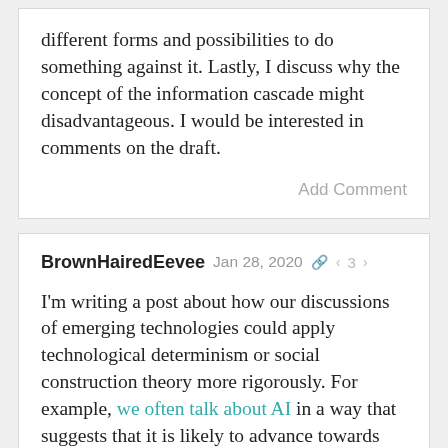different forms and possibilities to do something against it. Lastly, I discuss why the concept of the information cascade might disadvantageous. I would be interested in comments on the draft.
Add Comment
BrownHairedEevee  Jan 28, 2020  < 3 >
I'm writing a post about how our discussions of emerging technologies could apply technological determinism or social construction theory more rigorously. For example, we often talk about AI in a way that suggests that it is likely to advance towards